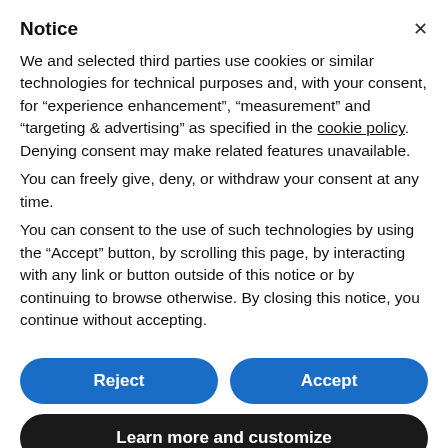Notice
We and selected third parties use cookies or similar technologies for technical purposes and, with your consent, for “experience enhancement”, “measurement” and “targeting & advertising” as specified in the cookie policy. Denying consent may make related features unavailable.
You can freely give, deny, or withdraw your consent at any time.
You can consent to the use of such technologies by using the “Accept” button, by scrolling this page, by interacting with any link or button outside of this notice or by continuing to browse otherwise. By closing this notice, you continue without accepting.
Reject
Accept
Learn more and customize
Contemporary has always shown how the